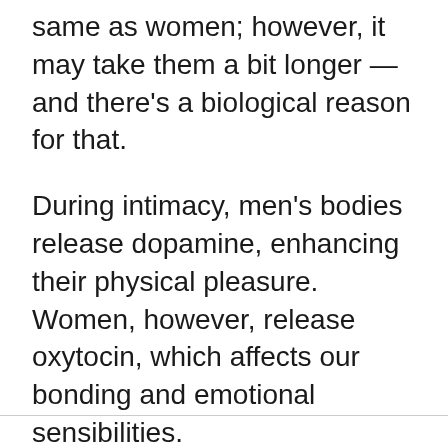same as women; however, it may take them a bit longer — and there's a biological reason for that.
During intimacy, men's bodies release dopamine, enhancing their physical pleasure. Women, however, release oxytocin, which affects our bonding and emotional sensibilities.